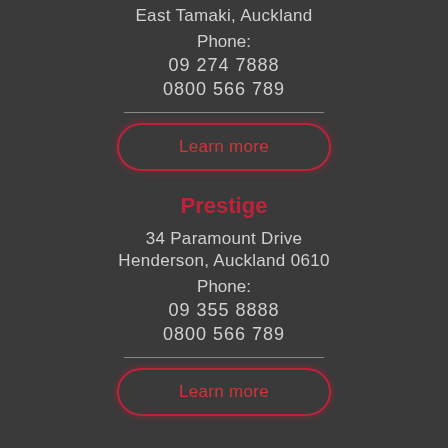East Tamaki, Auckland
Phone:
09 274 7888
0800 566 789
Learn more
Prestige
34 Paramount Drive
Henderson, Auckland 0610
Phone:
09 355 8888
0800 566 789
Learn more